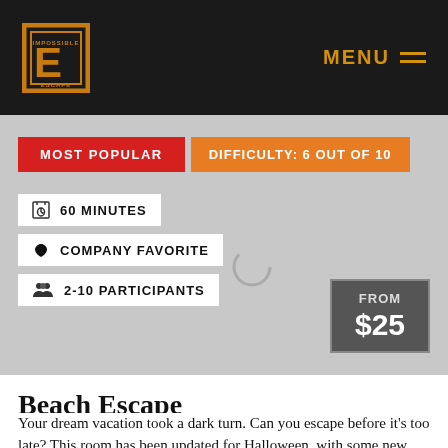[Figure (logo): Impossible Escape logo — stylized E in an orange square frame with 'IMPOSSIBLE ESCAPE' text]
MENU
MOST POPULAR
DIFFICULTY: 6 OUT OF 10
60 MINUTES
COMPANY FAVORITE
2-10 PARTICIPANTS
FROM $25
Beach Escape
Your dream vacation took a dark turn. Can you escape before it's too late?  This room has been updated for Halloween, with some new puzzles and scary props and themes!